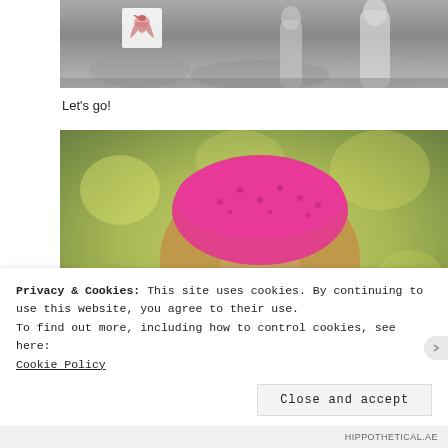[Figure (photo): Black and white photo of children outdoors, partially cropped at top]
[Figure (logo): Small bird/stork logo icon in top left corner of photo area]
Let's go!
[Figure (photo): Color portrait photo of a young toddler girl with blonde curly hair wearing a pink knit beanie hat with star pattern, looking upward with blue eyes, blurred green bokeh background]
Privacy & Cookies: This site uses cookies. By continuing to use this website, you agree to their use.
To find out more, including how to control cookies, see here:
Cookie Policy
Close and accept
HIPPOTHETICAL.AE